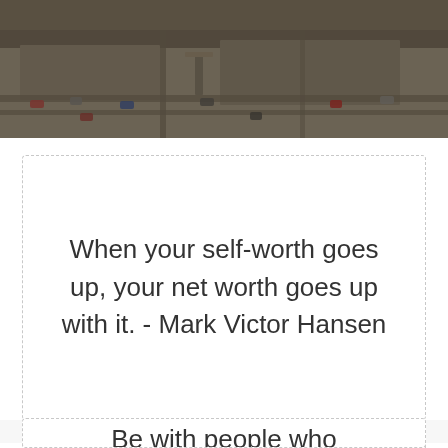[Figure (photo): Aerial view of a parking lot or rooftop with cars and roads, with a dark overlay tint]
When your self-worth goes up, your net worth goes up with it. - Mark Victor Hansen
Be with people who...